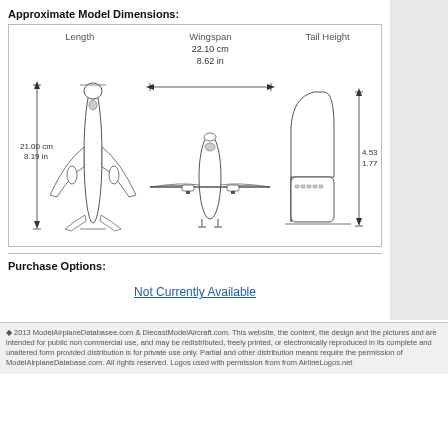Approximate Model Dimensions:
[Figure (engineering-diagram): Three engineering diagram views of a model airplane showing Length (top-down view, 21.00 cm / 8.19 in), Wingspan (front view, 22.10 cm / 8.62 in), and Tail Height (side tail view, 4.53 cm / 1.77 in) with dimension lines and arrows.]
Purchase Options:
Not Currently Available
♦ 2013 ModelAirplaneDatabasee.com & DiecastModelAircraft.com. This website, the content, the design and the pictures and are intended for public non commercial use, and may be redistributed, freely printed, or electronically reproduced in its complete and unaltered form provided distribution is for private use only. Partial and other distribution means require the permission of ModelAirplaneDatabase.com. All rights reserved. Logos used with permission from from AirlineLogos.net